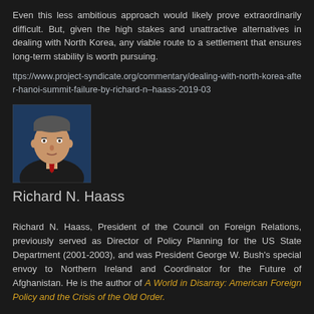Even this less ambitious approach would likely prove extraordinarily difficult. But, given the high stakes and unattractive alternatives in dealing with North Korea, any viable route to a settlement that ensures long-term stability is worth pursuing.
ttps://www.project-syndicate.org/commentary/dealing-with-north-korea-after-hanoi-summit-failure-by-richard-n–haass-2019-03
[Figure (photo): Headshot of Richard N. Haass, a middle-aged man in a dark suit with a red tie, against a dark blue background.]
Richard N. Haass
Richard N. Haass, President of the Council on Foreign Relations, previously served as Director of Policy Planning for the US State Department (2001-2003), and was President George W. Bush's special envoy to Northern Ireland and Coordinator for the Future of Afghanistan. He is the author of A World in Disarray: American Foreign Policy and the Crisis of the Old Order.